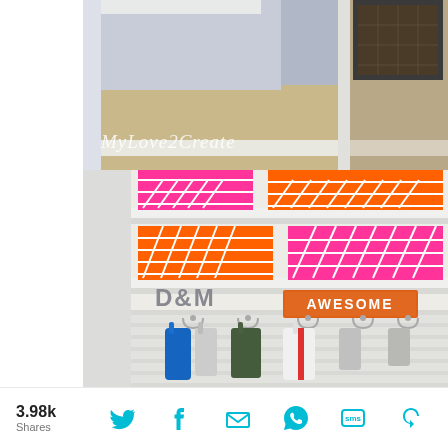[Figure (photo): Top image: An entryway/mudroom hallway with beige carpet, white baseboards, and a corkboard in the upper right corner. Watermark text reads 'MyLove2Create' in a cursive white font.]
[Figure (photo): Bottom image: White floating shelves on a light wall with colorful patterned storage boxes in pink/hot pink and orange with white geometric chain-link pattern. Below the shelves are metal hooks holding coats/bags in blue, olive green, red/white. Decorative letters 'D&M' and an orange sign reading 'AWESOME' are on a shelf or ledge.]
3.98k Shares